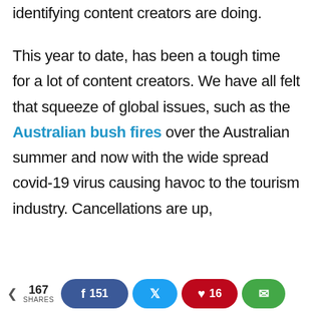identifying content creators are doing.
This year to date, has been a tough time for a lot of content creators. We have all felt that squeeze of global issues, such as the Australian bush fires over the Australian summer and now with the wide spread covid-19 virus causing havoc to the tourism industry. Cancellations are up,
advertising revenues are down and generally it's
167 SHARES | 151 Facebook | Twitter | 16 Pinterest | Email